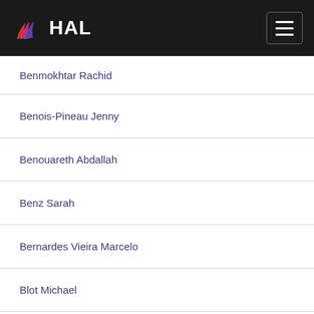HAL
Benmokhtar Rachid
Benois-Pineau Jenny
Benouareth Abdallah
Benz Sarah
Bernardes Vieira Marcelo
Blot Michael
Bornhofen Stefan
Borzic Boris
Bouadi Tassadit
Boucenna Sofiane
Bouchara Frédéric